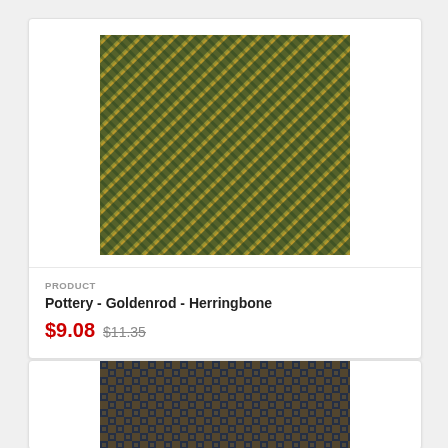[Figure (photo): Goldenrod and dark teal herringbone woven fabric swatch with diagonal stripe pattern]
PRODUCT
Pottery - Goldenrod - Herringbone
$9.08 $11.35
[Figure (photo): Dark navy and tan patterned woven fabric swatch, partially visible at bottom of page]